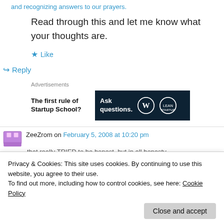and recognizing answers to our prayers.
Read through this and let me know what your thoughts are.
★ Like
↪ Reply
Advertisements
[Figure (other): Advertisement banner: left side shows text 'The first rule of Startup School?'; right side is a dark banner with 'Ask questions.' and WordPress + another logo]
ZeeZrom on February 5, 2008 at 10:20 pm
that really TRIED to be honest, but in all honesty,
Privacy & Cookies: This site uses cookies. By continuing to use this website, you agree to their use.
To find out more, including how to control cookies, see here: Cookie Policy
Close and accept